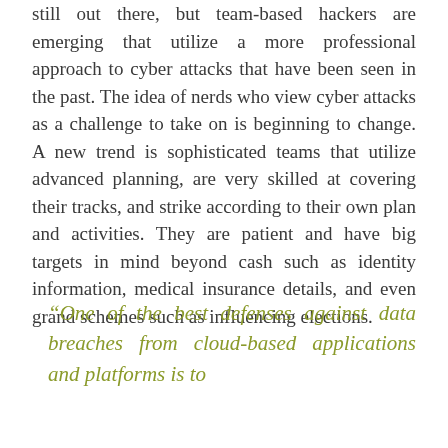still out there, but team-based hackers are emerging that utilize a more professional approach to cyber attacks that have been seen in the past. The idea of nerds who view cyber attacks as a challenge to take on is beginning to change. A new trend is sophisticated teams that utilize advanced planning, are very skilled at covering their tracks, and strike according to their own plan and activities. They are patient and have big targets in mind beyond cash such as identity information, medical insurance details, and even grand schemes such as influencing elections.
“One of the best defenses against data breaches from cloud-based applications and platforms is to